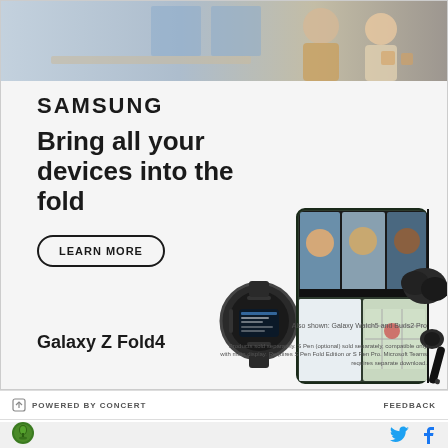[Figure (photo): Samsung advertisement banner showing people in a modern room at the top, Galaxy Z Fold4 smartphone open showing video call with three people, Galaxy Watch5 smartwatch, Buds2 Pro earbuds, and S Pen stylus]
SAMSUNG
Bring all your devices into the fold
LEARN MORE
Galaxy Z Fold4
Also shown: Galaxy Watch5 and Buds2 Pro
Products sold separately. S Pen (optional) sold separately, compatible only with main display. Requires S Pen Fold Edition or S Pen Pro. Microsoft Teams requires separate download.
POWERED BY CONCERT    FEEDBACK
[Figure (logo): Organization circular green logo with tree/figure emblem]
[Figure (illustration): Twitter bird icon in blue and Facebook f icon in blue]